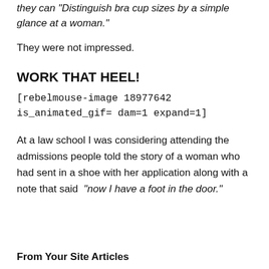they can "Distinguish bra cup sizes by a simple glance at a woman."
They were not impressed.
WORK THAT HEEL!
[rebelmouse-image 18977642 is_animated_gif= dam=1 expand=1]
At a law school I was considering attending the admissions people told the story of a woman who had sent in a shoe with her application along with a note that said “now I have a foot in the door.”
From Your Site Articles